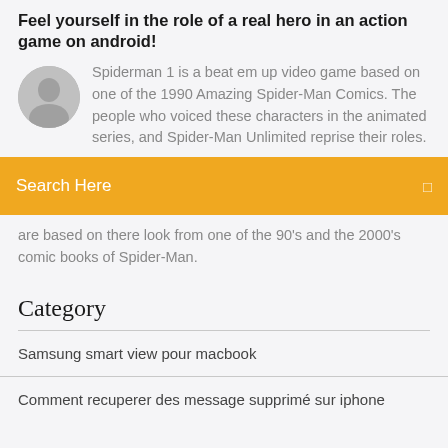Feel yourself in the role of a real hero in an action game on android!
Spiderman 1 is a beat em up video game based on one of the 1990 Amazing Spider-Man Comics. The people who voiced these characters in the animated series, and Spider-Man Unlimited reprise their roles.
Search Here
are based on there look from one of the 90's and the 2000's comic books of Spider-Man.
Category
Samsung smart view pour macbook
Comment recuperer des message supprimé sur iphone